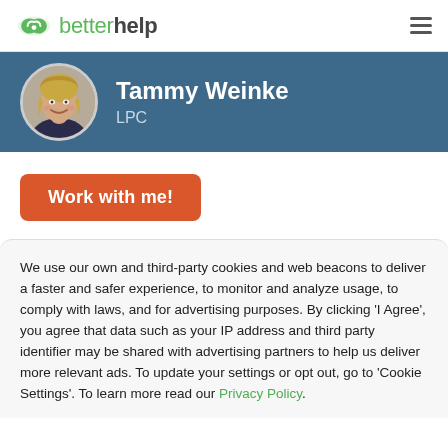betterhelp
[Figure (photo): Therapist profile banner with circular photo of Tammy Weinke, a woman with blonde hair smiling, on a teal/dark blue background]
Tammy Weinke
LPC
Work with me!
We use our own and third-party cookies and web beacons to deliver a faster and safer experience, to monitor and analyze usage, to comply with laws, and for advertising purposes. By clicking 'I Agree', you agree that data such as your IP address and third party identifier may be shared with advertising partners to help us deliver more relevant ads. To update your settings or opt out, go to 'Cookie Settings'. To learn more read our Privacy Policy.